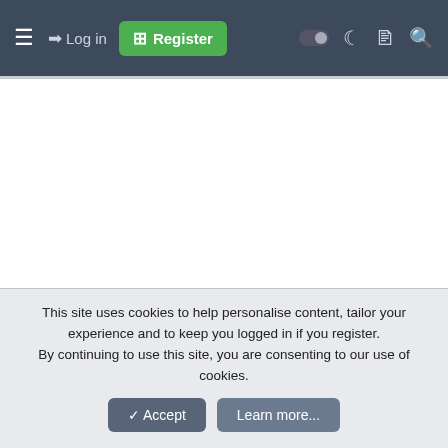≡  →) Log in  ⊞ Register  ⬤ ☾ 🗋 🔍
[Figure (screenshot): White content area, blank]
Anusha
New Member  Member
[Figure (photo): Circular avatar with bird/animal photo]
[Figure (illustration): Sri Lanka flag icon]
This site uses cookies to help personalise content, tailor your experience and to keep you logged in if you register.
By continuing to use this site, you are consenting to our use of cookies.
✓ Accept    Learn more...